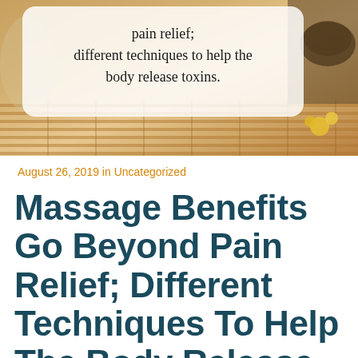[Figure (photo): Hero image showing massage/spa items on a bamboo mat with a speech bubble overlay containing text about pain relief and body toxin release techniques]
August 26, 2019 in Uncategorized
Massage Benefits Go Beyond Pain Relief; Different Techniques To Help The Body Release Toxins.